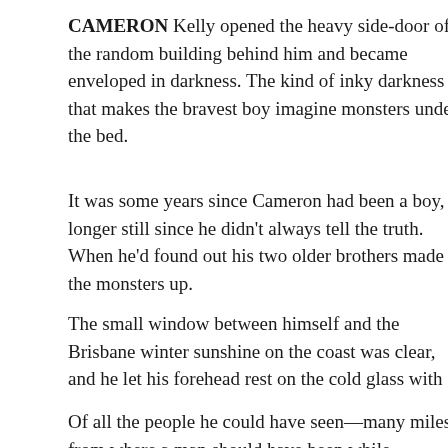CAMERON Kelly opened the heavy side-door of the random building behind him and became enveloped in darkness. The kind of inky darkness that makes the bravest boy imagine monsters under the bed.
It was some years since Cameron had been a boy, longer still since he didn't always tell the truth. When he'd found out his two older brothers made the monsters up.
The small window between himself and the Brisbane winter sunshine on the coast was clear, and he let his forehead rest on the cold glass with
Of all the people he could have seen—many miles from where a man should have been while commerce and industry raged on in the city beyond—his younger sister Meg, downing take-away coffee and gabbing with
If Meg had seen him wandering the suburban Botanical Gardens, admiring cacti rather than neck-deep in blueprints and permits and funding for future skyscrapers, she would not have let him be until he'd told her why